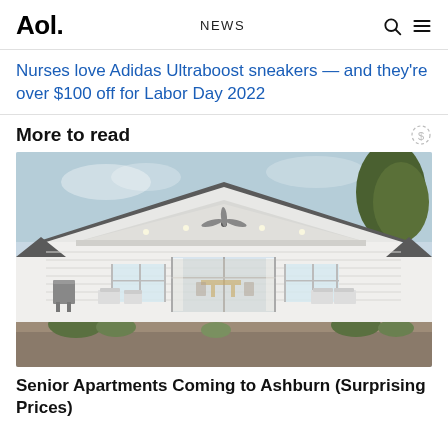Aol. NEWS
Nurses love Adidas Ultraboost sneakers — and they're over $100 off for Labor Day 2022
More to read
[Figure (photo): Exterior photo of a modern white single-storey house with a covered porch, ceiling fan, outdoor seating, and a wooden deck surrounded by landscaping.]
Senior Apartments Coming to Ashburn (Surprising Prices)